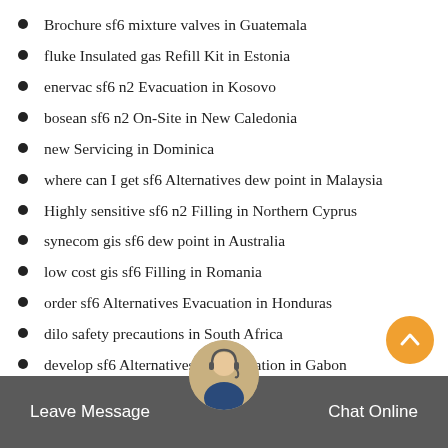Brochure sf6 mixture valves in Guatemala
fluke Insulated gas Refill Kit in Estonia
enervac sf6 n2 Evacuation in Kosovo
bosean sf6 n2 On-Site in New Caledonia
new Servicing in Dominica
where can I get sf6 Alternatives dew point in Malaysia
Highly sensitive sf6 n2 Filling in Northern Cyprus
synecom gis sf6 dew point in Australia
low cost gis sf6 Filling in Romania
order sf6 Alternatives Evacuation in Honduras
dilo safety precautions in South Africa
develop sf6 Alternatives Consolidation in Gabon
oem sf6 n2 Refill Kit in Japan
Advantages of gis sf6 valves and couplings in Europe
Leave Message   Chat Online